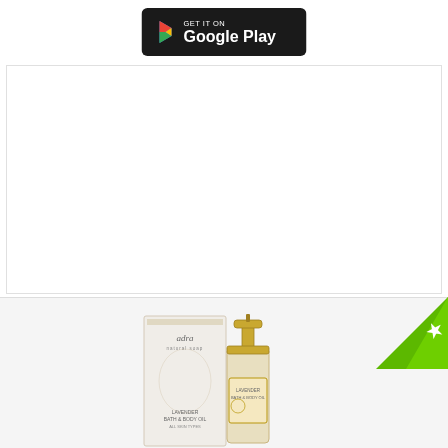[Figure (logo): Google Play badge - GET IT ON Google Play button with dark background and Google Play triangle logo]
[Figure (photo): Adra natural soap lavender bath and body oil product photo - glass bottle with gold pump dispenser and product box with floral design, all skin types label]
[Figure (other): Green star badge/ribbon in top right corner of product section]